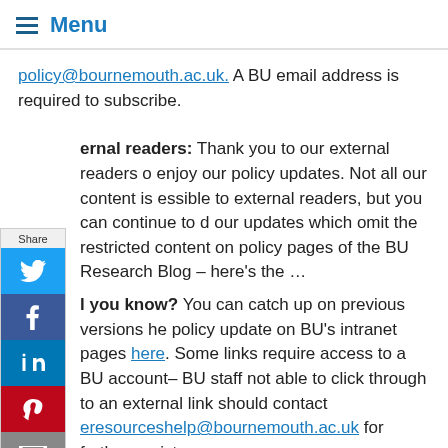Menu
policy@bournemouth.ac.uk. A BU email address is required to subscribe.
External readers: Thank you to our external readers to enjoy our policy updates. Not all our content is accessible to external readers, but you can continue to read our updates which omit the restricted content on the policy pages of the BU Research Blog – here's the link...
Did you know? You can catch up on previous versions of the policy update on BU's intranet pages here. Some links require access to a BU account– BU staff not able to click through to an external link should contact eresourceshelp@bournemouth.ac.uk for further assistance.